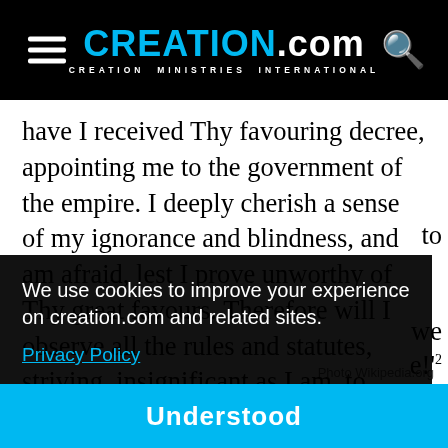CREATION.com — CREATION MINISTRIES INTERNATIONAL
have I received Thy favouring decree, appointing me to the government of the empire. I deeply cherish a sense of my ignorance and blindness, and am afraid, lest I prove unworthy of Thy great favours. Therefore will I observe all the rules and statutes, striving, insignificant as I am, to discharge my loyal duty. Far distant here, I look up to
We use cookies to improve your experience on creation.com and related sites. Privacy Policy
Understood